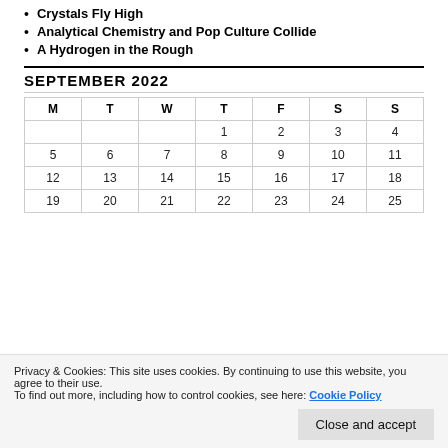Crystals Fly High
Analytical Chemistry and Pop Culture Collide
A Hydrogen in the Rough
SEPTEMBER 2022
| M | T | W | T | F | S | S |
| --- | --- | --- | --- | --- | --- | --- |
|  |  |  | 1 | 2 | 3 | 4 |
| 5 | 6 | 7 | 8 | 9 | 10 | 11 |
| 12 | 13 | 14 | 15 | 16 | 17 | 18 |
| 19 | 20 | 21 | 22 | 23 | 24 | 25 |
Privacy & Cookies: This site uses cookies. By continuing to use this website, you agree to their use. To find out more, including how to control cookies, see here: Cookie Policy
Close and accept